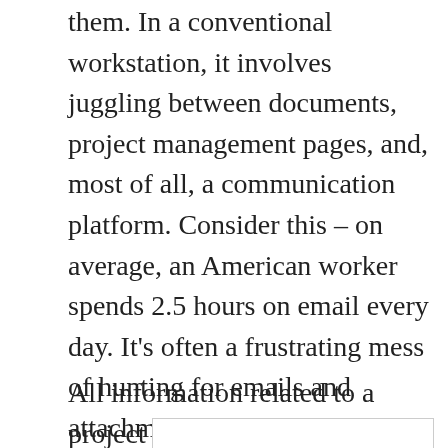them. In a conventional workstation, it involves juggling between documents, project management pages, and, most of all, a communication platform. Consider this – on average, an American worker spends 2.5 hours on email every day. It's often a frustrating mess of hunting for emails and attachments. Now, what if all of this could be accomplished from one single application without the hassles? That's precisely what Podio does. It combines sharp project management tools with slick collaboration features, and it does it with panache.
All information related to a project is available on a
[Figure (infographic): Advertisement box: 'Buy It Today, Get It Today' - Furniture Max, with a logo and blue navigation icon]